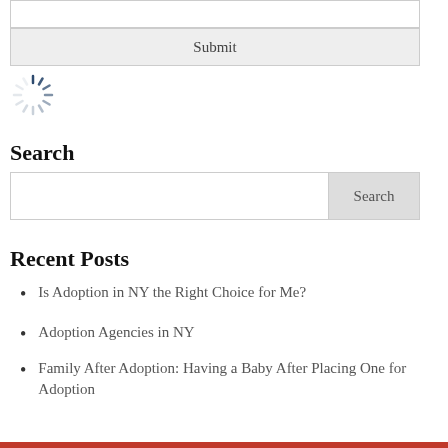[Figure (other): A text input box (empty) above a Submit button, part of a web form UI]
[Figure (other): Loading spinner (circular dashed/spoke animation indicator)]
Search
[Figure (other): Search input field with a Search button on the right]
Recent Posts
Is Adoption in NY the Right Choice for Me?
Adoption Agencies in NY
Family After Adoption: Having a Baby After Placing One for Adoption